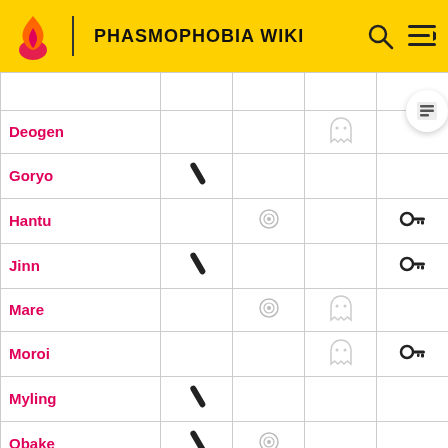PHASMOPHOBIA WIKI
| Ghost | Col1 | Col2 | Col3 | Col4 |
| --- | --- | --- | --- | --- |
| Deogen |  |  | ghost |  |
| Goryo | wrench |  |  |  |
| Hantu |  | orb |  | key |
| Jinn | wrench |  |  | key |
| Mare |  | orb | ghost |  |
| Moroi |  |  | ghost | key |
| Myling | wrench |  |  |  |
| Obake | wrench | orb |  |  |
| Oni |  |  |  |  |
| Onryo |  |  |  |  |